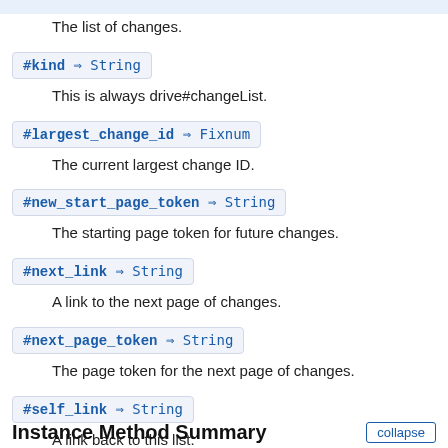The list of changes.
#kind ⇒ String
This is always drive#changeList.
#largest_change_id ⇒ Fixnum
The current largest change ID.
#new_start_page_token ⇒ String
The starting page token for future changes.
#next_link ⇒ String
A link to the next page of changes.
#next_page_token ⇒ String
The page token for the next page of changes.
#self_link ⇒ String
A link back to this list.
Instance Method Summary